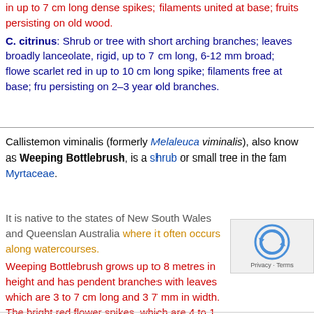in up to 7 cm long dense spikes; filaments united at base; fruits persisting on old wood. C. citrinus: Shrub or tree with short arching branches; leaves broadly lanceolate, rigid, up to 7 cm long, 6-12 mm broad; flowe scarlet red in up to 10 cm long spike; filaments free at base; fru persisting on 2–3 year old branches.
Callistemon viminalis (formerly Melaleuca viminalis), also known as Weeping Bottlebrush, is a shrub or small tree in the family Myrtaceae.
It is native to the states of New South Wales and Queensland, Australia where it often occurs along watercourses. Weeping Bottlebrush grows up to 8 metres in height and has pendent branches with leaves which are 3 to 7 cm long and 3-7 mm in width. The bright red flower spikes, which are 4 to 1 cm in length and about 3 to 6 cm in diameter occur between spring and summer. (From Wikipedia on 13.12.13)
[Figure (other): reCAPTCHA widget showing circular arrow logo and Privacy · Terms text]